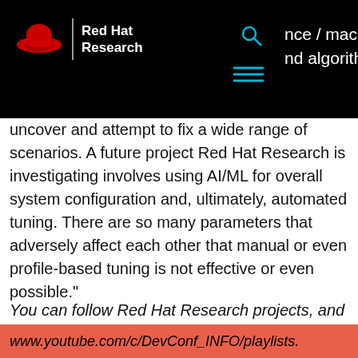Red Hat Research
nce / machine
nd algorithms to
uncover and attempt to fix a wide range of scenarios. A future project Red Hat Research is investigating involves using AI/ML for overall system configuration and, ultimately, automated tuning. There are so many parameters that adversely affect each other that manual or even profile-based tuning is not effective or even possible."
You can follow Red Hat Research projects, and even suggest a project based on open source software, at research.redhat.com. Recordings of Devconf presentations are available at
www.youtube.com/c/DevConf_INFO/playlists.